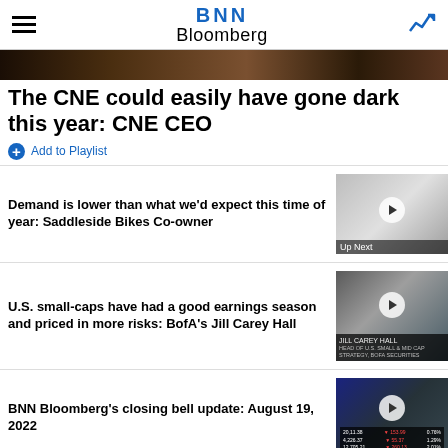BNN Bloomberg
[Figure (photo): Hero image banner, dark brownish crowd scene]
The CNE could easily have gone dark this year: CNE CEO
Add to Playlist
Demand is lower than what we'd expect this time of year: Saddleside Bikes Co-owner
[Figure (photo): Video thumbnail: man in white shirt, Up Next label]
U.S. small-caps have had a good earnings season and priced in more risks: BofA's Jill Carey Hall
[Figure (photo): Video thumbnail: woman with dark curly hair at BofA Securities]
BNN Bloomberg's closing bell update: August 19, 2022
[Figure (photo): Video thumbnail: stock market ticker board with figures]